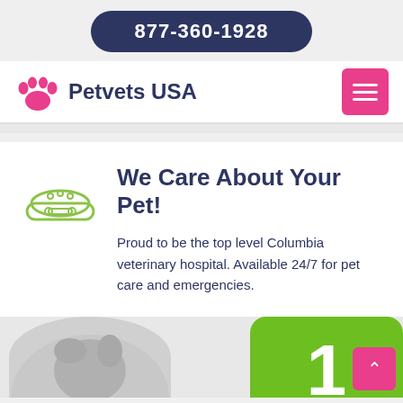877-360-1928
Petvets USA
We Care About Your Pet!
Proud to be the top level Columbia veterinary hospital. Available 24/7 for pet care and emergencies.
[Figure (photo): Partial view of a French Bulldog in a circular/rounded image at the bottom left, and a green rounded rectangle with the number 1 at the bottom right, with a pink scroll-to-top button.]